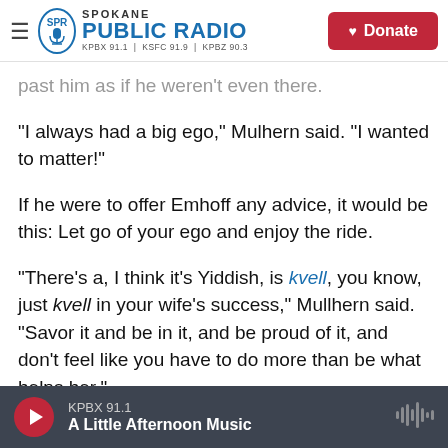Spokane Public Radio — KPBX 91.1 | KSFC 91.9 | KPBZ 90.3 — Donate
past him as if he weren't even there.
"I always had a big ego," Mulhern said. "I wanted to matter!"
If he were to offer Emhoff any advice, it would be this: Let go of your ego and enjoy the ride.
"There's a, I think it's Yiddish, is kvell, you know, just kvell in your wife's success," Mullhern said. "Savor it and be in it, and be proud of it, and don't feel like you have to do more than be what helps her."
KPBX 91.1 — A Little Afternoon Music